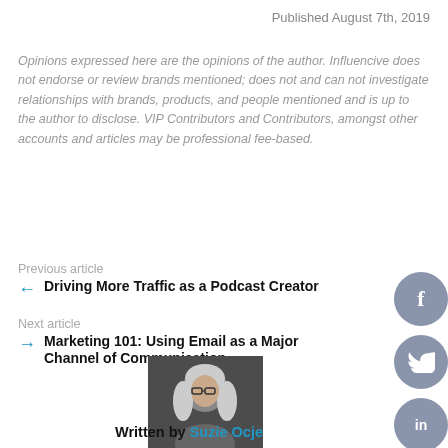Published August 7th, 2019
Opinions expressed here are the opinions of the author. Influencive does not endorse or review brands mentioned; does not and can not investigate relationships with brands, products, and people mentioned and is up to the author to disclose. VIP Contributors and Contributors, amongst other accounts and articles may be professional fee-based.
Previous article
Driving More Traffic as a Podcast Creator
Next article
Marketing 101: Using Email as a Major Channel of Communication
[Figure (photo): Author photo of a woman with long light hair and glasses]
Written by Suzie Ocje